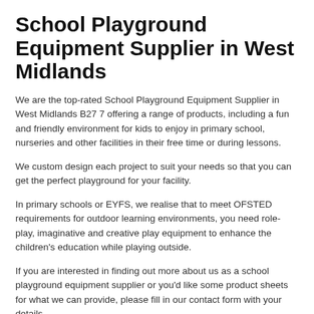School Playground Equipment Supplier in West Midlands
We are the top-rated School Playground Equipment Supplier in West Midlands B27 7 offering a range of products, including a fun and friendly environment for kids to enjoy in primary school, nurseries and other facilities in their free time or during lessons.
We custom design each project to suit your needs so that you can get the perfect playground for your facility.
In primary schools or EYFS, we realise that to meet OFSTED requirements for outdoor learning environments, you need role-play, imaginative and creative play equipment to enhance the children's education while playing outside.
If you are interested in finding out more about us as a school playground equipment supplier or you'd like some product sheets for what we can provide, please fill in our contact form with your details.